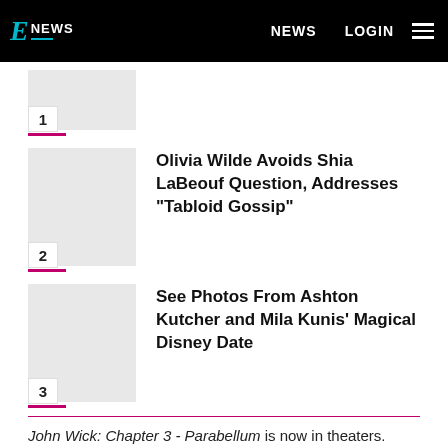E! NEWS | NEWS | LOGIN
1
2 — Olivia Wilde Avoids Shia LaBeouf Question, Addresses "Tabloid Gossip"
3 — See Photos From Ashton Kutcher and Mila Kunis' Magical Disney Date
John Wick: Chapter 3 - Parabellum is now in theaters.